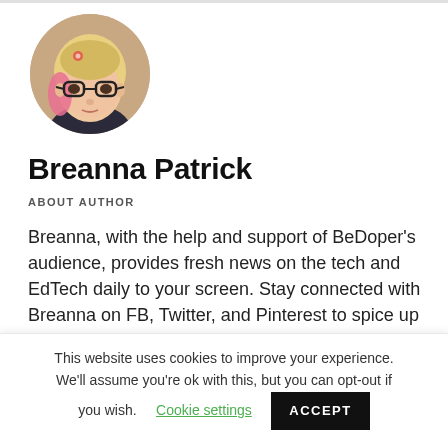[Figure (photo): Circular profile photo of Breanna Patrick, a young woman with glasses and pink-tipped blonde hair, wearing a dark top.]
Breanna Patrick
ABOUT AUTHOR
Breanna, with the help and support of BeDoper's audience, provides fresh news on the tech and EdTech daily to your screen. Stay connected with Breanna on FB, Twitter, and Pinterest to spice up
This website uses cookies to improve your experience. We'll assume you're ok with this, but you can opt-out if you wish.
Cookie settings  ACCEPT